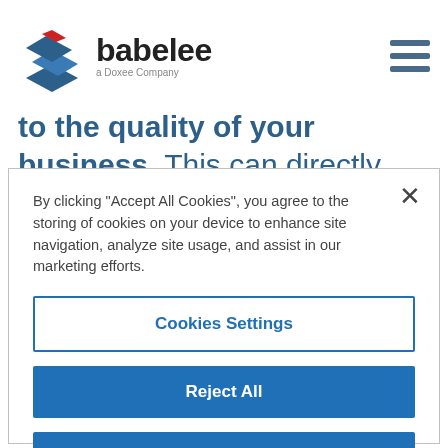[Figure (logo): Babelee logo with geometric layered shape in blue and red, text 'babelee' with tagline 'a Doxee Company', and hamburger menu icon on the right]
to the quality of your business. This can directly affect not only your brand, but also your success. Although video can be
By clicking "Accept All Cookies", you agree to the storing of cookies on your device to enhance site navigation, analyze site usage, and assist in our marketing efforts.
Cookies Settings
Reject All
Accept All Cookies